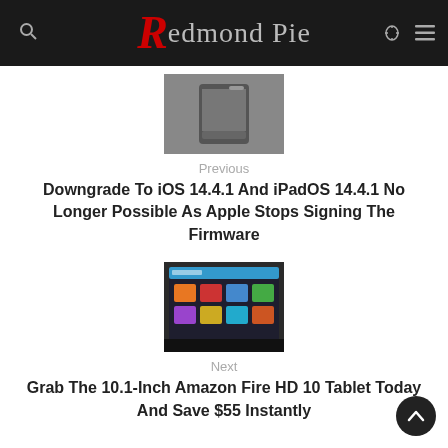Redmond Pie
[Figure (photo): Thumbnail image of iOS device in black and white]
Previous
Downgrade To iOS 14.4.1 And iPadOS 14.4.1 No Longer Possible As Apple Stops Signing The Firmware
[Figure (photo): Thumbnail image of Amazon Fire HD 10 tablet showing home screen]
Next
Grab The 10.1-Inch Amazon Fire HD 10 Tablet Today And Save $55 Instantly